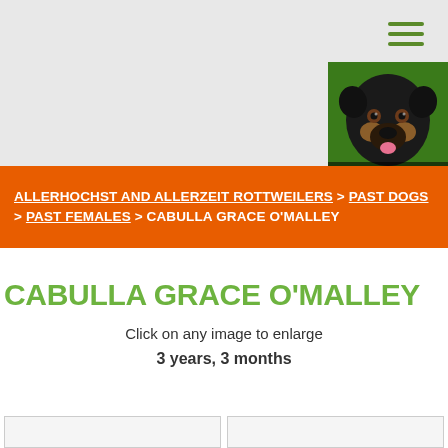[Figure (photo): Close-up photo of a Rottweiler dog face with caption 'Allerhochst Gold Jordan']
ALLERHOCHST AND ALLERZEIT ROTTWEILERS > PAST DOGS > PAST FEMALES > CABULLA GRACE O'MALLEY
CABULLA GRACE O'MALLEY
Click on any image to enlarge
3 years, 3 months